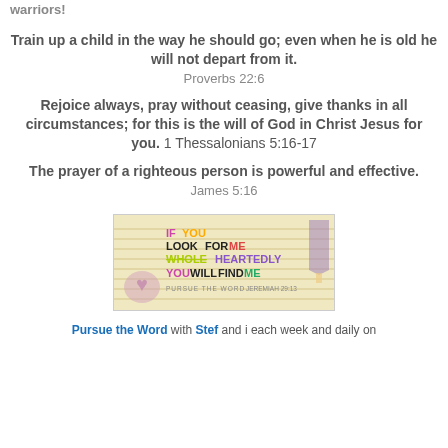warriors!
Train up a child in the way he should go; even when he is old he will not depart from it. Proverbs 22:6
Rejoice always, pray without ceasing, give thanks in all circumstances; for this is the will of God in Christ Jesus for you. 1 Thessalonians 5:16-17
The prayer of a righteous person is powerful and effective. James 5:16
[Figure (illustration): Colorful inspirational image on lined notebook paper background with text: IF YOU LOOK FOR ME WHOLEHEARTEDLY YOU WILL FIND ME - Pursue the Word Jeremiah 29:13, with purple heart/pencil decorations]
Pursue the Word with Stef and i each week and daily on